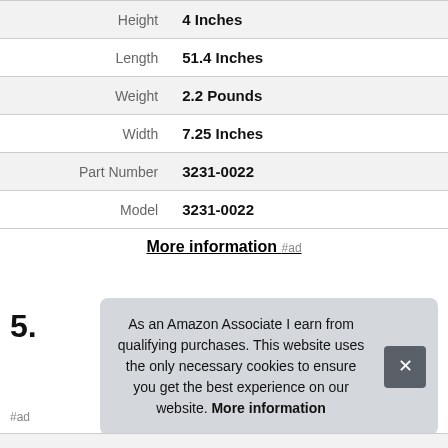| Attribute | Value |
| --- | --- |
| Height | 4 Inches |
| Length | 51.4 Inches |
| Weight | 2.2 Pounds |
| Width | 7.25 Inches |
| Part Number | 3231-0022 |
| Model | 3231-0022 |
More information #ad
5.
As an Amazon Associate I earn from qualifying purchases. This website uses the only necessary cookies to ensure you get the best experience on our website. More information
#ad